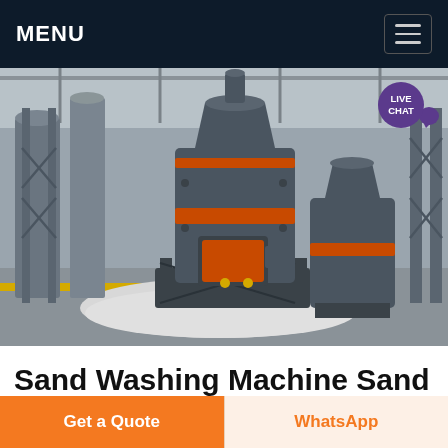MENU
[Figure (photo): Industrial grinding/milling machines in a factory setting. Large dark grey cone-shaped machines with orange accent rings, placed on white granular material on a concrete factory floor. Steel structural columns and silos visible in the background.]
Sand Washing Machine Sand Washing Working Process
Get a Quote
WhatsApp